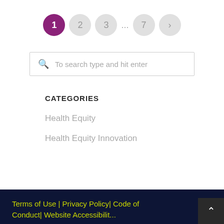[Figure (other): Pagination control with circles: 1 (active/purple), 2, 3, ..., 7, and a right arrow]
To search type and hit enter
CATEGORIES
Health Equity
Health Equity Innovation
Terms of Use | Privacy Policy| Code of Conduct| Website Accessibilit...